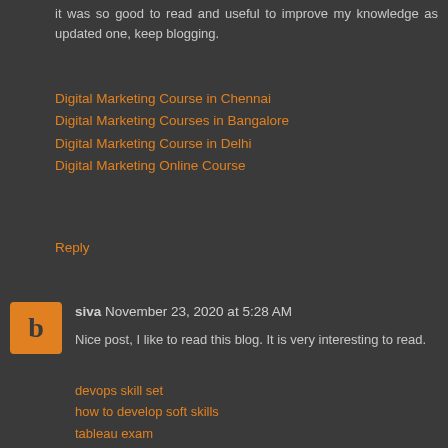it was so good to read and useful to improve my knowledge as updated one, keep blogging.
Digital Marketing Course in Chennai
Digital Marketing Courses in Bangalore
Digital Marketing Course in Delhi
Digital Marketing Online Course
Reply
siva November 23, 2020 at 5:28 AM
Nice post, I like to read this blog. It is very interesting to read.
devops skill set
how to develop soft skills
tableau exam
tips for spoken english
blue prism real time interview questions
interview questions on blue prism
Reply